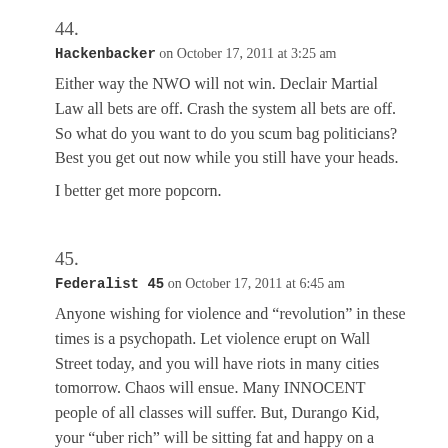44.
Hackenbacker on October 17, 2011 at 3:25 am
Either way the NWO will not win. Declair Martial Law all bets are off. Crash the system all bets are off. So what do you want to do you scum bag politicians? Best you get out now while you still have your heads.
I better get more popcorn.
45.
Federalist45 on October 17, 2011 at 6:45 am
Anyone wishing for violence and “revolution” in these times is a psychopath. Let violence erupt on Wall Street today, and you will have riots in many cities tomorrow. Chaos will ensue. Many INNOCENT people of all classes will suffer. But, Durango Kid, your “uber rich” will be sitting fat and happy on a beach in the Seychelles,